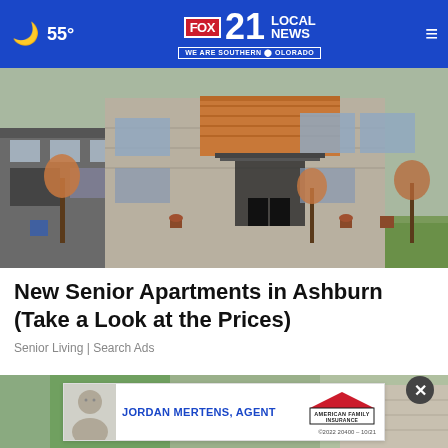55° FOX 21 LOCAL NEWS - WE ARE SOUTHERN COLORADO
[Figure (photo): Exterior photo of modern apartment/townhouse building with stone and wood siding, autumn trees in foreground, green lawn]
New Senior Apartments in Ashburn (Take a Look at the Prices)
Senior Living | Search Ads
[Figure (photo): Partial photo of house exterior with green trees, overlaid with advertisement for Jordan Mertens Agent - American Family Insurance, ©2022 20400 – 10/21]